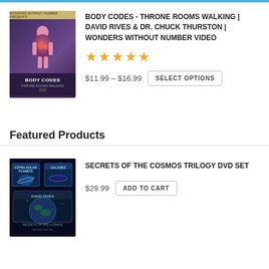[Figure (photo): Body Codes - Throne Rooms Walking DVD/book cover with human anatomy figure on dark purple background]
BODY CODES - THRONE ROOMS WALKING | DAVID RIVES & DR. CHUCK THURSTON | WONDERS WITHOUT NUMBER VIDEO
★★★★★
$11.99 – $16.99
SELECT OPTIONS
Featured Products
[Figure (photo): Secrets of the Cosmos Trilogy DVD set showing three DVDs with space/cosmos imagery]
SECRETS OF THE COSMOS TRILOGY DVD SET
$29.99
ADD TO CART